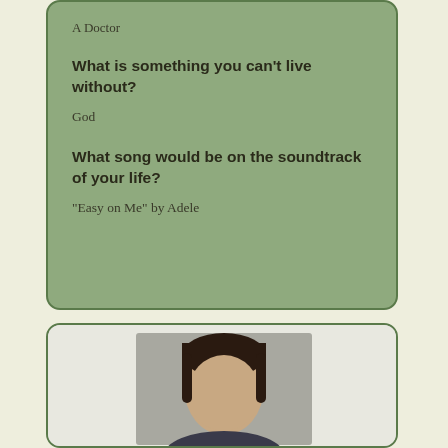A Doctor
What is something you can't live without?
God
What song would be on the soundtrack of your life?
“Easy on Me” by Adele
[Figure (photo): Headshot photo of a person with dark hair against a grey background]